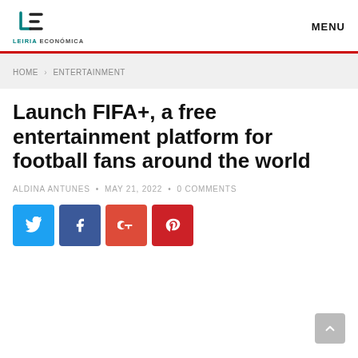LEIRIA ECONÓMICA | MENU
HOME > ENTERTAINMENT
Launch FIFA+, a free entertainment platform for football fans around the world
ALDINA ANTUNES • MAY 21, 2022 • 0 COMMENTS
[Figure (other): Social share buttons: Twitter, Facebook, Google+, Pinterest]